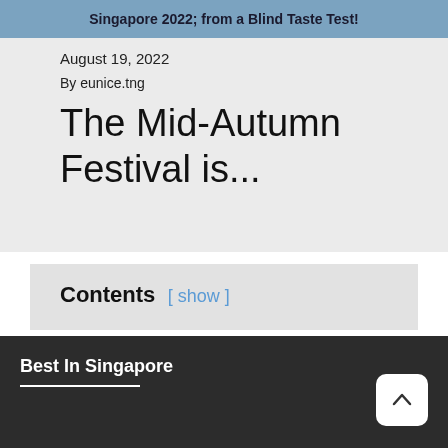Singapore 2022; from a Blind Taste Test!
August 19, 2022
By eunice.tng
The Mid-Autumn Festival is...
Contents [ show ]
Best In Singapore